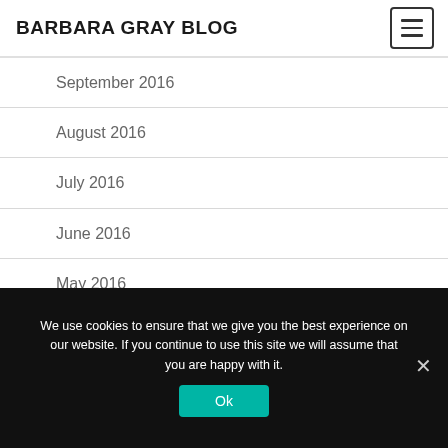BARBARA GRAY BLOG
September 2016
August 2016
July 2016
June 2016
May 2016
April 2016
March 2016
We use cookies to ensure that we give you the best experience on our website. If you continue to use this site we will assume that you are happy with it.
Ok